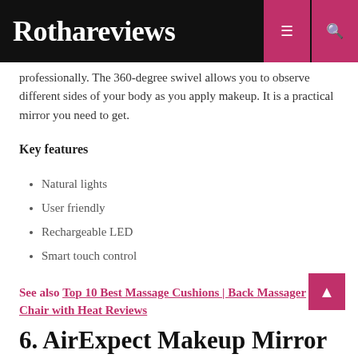Rothareviews
professionally. The 360-degree swivel allows you to observe different sides of your body as you apply makeup. It is a practical mirror you need to get.
Key features
Natural lights
User friendly
Rechargeable LED
Smart touch control
See also Top 10 Best Massage Cushions | Back Massager Chair with Heat Reviews
6. AirExpect Makeup Mirror